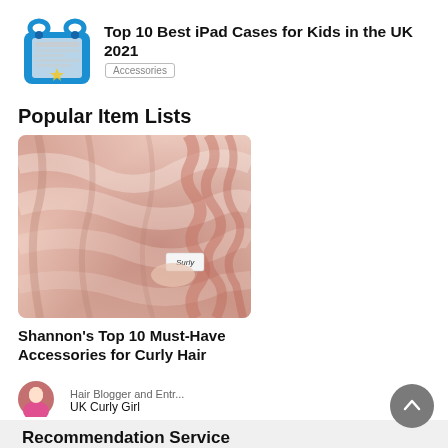[Figure (illustration): iPad in a blue kids protective case with handles]
Top 10 Best iPad Cases for Kids in the UK 2021
Accessories
Popular Item Lists
[Figure (photo): Close-up photo of pink/peach satin or silk fabric with gathered ruffles, with a small label tag visible]
Shannon's Top 10 Must-Have Accessories for Curly Hair
Hair Blogger and Entr...
UK Curly Girl
Recommendation Service
mybest connects people with the best things.
Experts and professionals will introduce you to their recommended items.